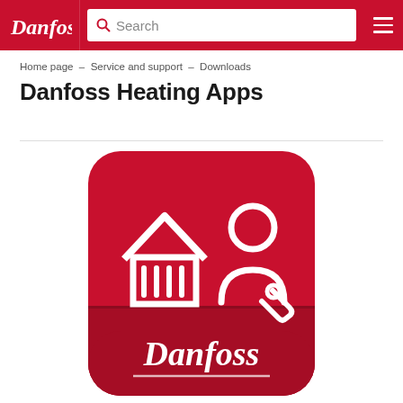Danfoss [logo] | Search | [menu]
Home page – Service and support – Downloads
Danfoss Heating Apps
[Figure (logo): Danfoss Heating Apps icon — a rounded-square red app icon with white outline icons of a house with radiator bars and a service technician figure holding a wrench, with the Danfoss script logo in white on a darker red lower band]